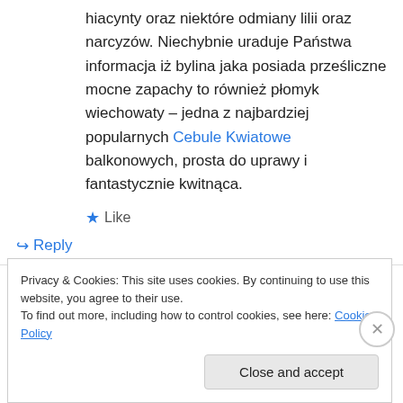hiacynty oraz niektóre odmiany lilii oraz narcyzów. Niechybnie uraduje Państwa informacja iż bylina jaka posiada prześliczne mocne zapachy to również płomyk wiechowaty – jedna z najbardziej popularnych Cebule Kwiatowe balkonowych, prosta do uprawy i fantastycznie kwitnąca.
★ Like
↪ Reply
Privacy & Cookies: This site uses cookies. By continuing to use this website, you agree to their use.
To find out more, including how to control cookies, see here: Cookie Policy
Close and accept